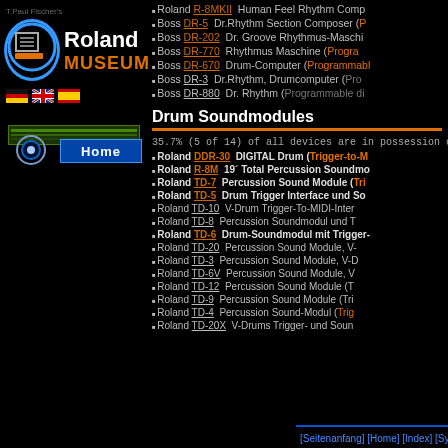[Figure (logo): Roland Museum logo with circular icon and orange MUSEUM text]
[Figure (illustration): Three country flags: German, UK, Spanish]
[Figure (screenshot): Navigation home button area with target icon and blue Home button]
Roland R-8MKII Human Feel Rhythm Comp...
Boss DR-5 Dr.Rhythm Section Composer (P...
Boss DR-202 Dr. Groove Rhythmus-Maschi...
Boss DR-770 Rhythmus Maschine (Progra...
Boss DR-670 Drum-Computer (Programmabl...
Boss DR-3 Dr.Rhythm, Drumcomputer (Pro...
Boss DR-880 Dr. Rhythm (Programmable di...
Drum Soundmodules
35.7% (5 of 14) of all devices are in possession o...
Roland DDR-30 DIGITAL Drum (Trigger-to-M...
Roland R-8M 19' Total Percussion Soundmo...
Roland TD-7 Percussion Sound Module (Tri...
Roland TD-5 Drum Trigger Interface und So...
Roland TD-10 V-Drum Trigger-To-MIDI-Inter...
Roland TD-8 Percussion Soundmodul und T...
Roland TD-6 Drum-Soundmodul mit Trigger-...
Roland TD-20 Percussion Sound Module, V-...
Roland TD-3 Percussion Sound Module, V-D...
Roland TD-6V Percussion Sound Module, V...
Roland TD-12 Percussion Sound Module (T...
Roland TD-9 Percussion Sound Module (Tri...
Roland TD-4 Percussion Sound-Modul (Trig...
Roland TD-20X V-Drums Trigger- und Soun...
[Seitenanfang] [Home] [Index] [Synth] [Drums] [Rec&FX...